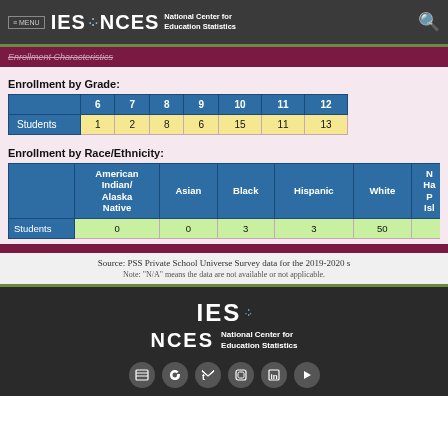MENU IES NCES National Center for Education Statistics
Enrollment Characteristics
Enrollment by Grade:
|  | 6 | 7 | 8 | 9 | 10 | 11 | 12 |
| --- | --- | --- | --- | --- | --- | --- | --- |
| Students | 1 | 2 | 8 | 6 | 15 | 11 | 13 |
Enrollment by Race/Ethnicity:
|  | American Indian/ Alaska Native | Asian | Black | Hispanic | White | N Ha P Isl |
| --- | --- | --- | --- | --- | --- | --- |
| Students | 0 | 0 | 3 | 3 | 50 |  |
Source: PSS Private School Universe Survey data for the 2019-2020 s
Note: "N/A" means the data are not available or not applicable.
IES NCES National Center for Education Statistics